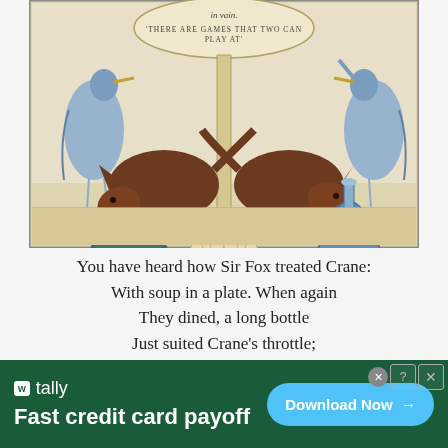[Figure (illustration): Vintage illustrated fable image showing two foxes/animals at a flat plate and a tall bottle, with crane/heron birds in the background. Text at top reads 'in vain.' and 'THERE ARE GAMES THAT TWO CAN PLAY AT'. Decorative Art Nouveau style border and shell motif at bottom center.]
You have heard how Sir Fox treated Crane:
With soup in a plate. When again
They dined, a long bottle
Just suited Crane's throttle;
And Sir Fox licked the outside in vain.
[Figure (infographic): Advertisement banner for Tally app. Dark green background. Tally logo and text 'Fast credit card payoff'. Blue 'Download Now' button with arrow. Close button and ad icons in top right corner.]